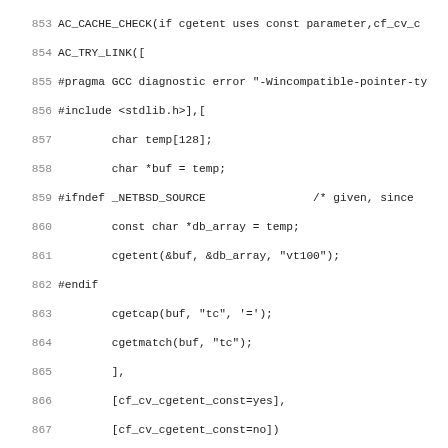[Figure (screenshot): Source code listing showing autoconf macro lines 853-884, monospace font with grey line numbers on left]